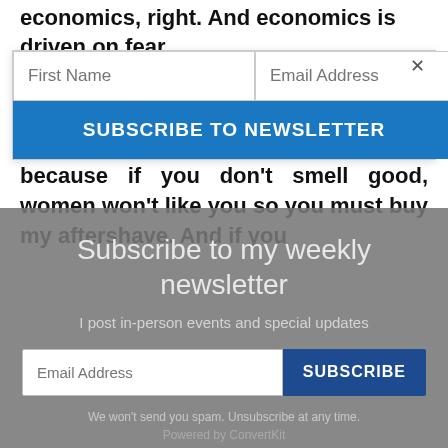economics, right. And economics is driven on fear.
[Figure (screenshot): Top newsletter signup popup with two input fields (First Name, Email Address) and a blue 'SUBSCRIBE TO NEWSLETTER' button, with an X close button.]
because if you don't smell good, women won't like you so you must buy my aftershave. And if you
[Figure (screenshot): Second newsletter subscription modal overlay with gray background, title 'Subscribe to my weekly newsletter', subtitle 'I post in-person events and special updates', an email address input field, a dark blue 'SUBSCRIBE' button, spam disclaimer, and 'Powered by ConvertKit' text.]